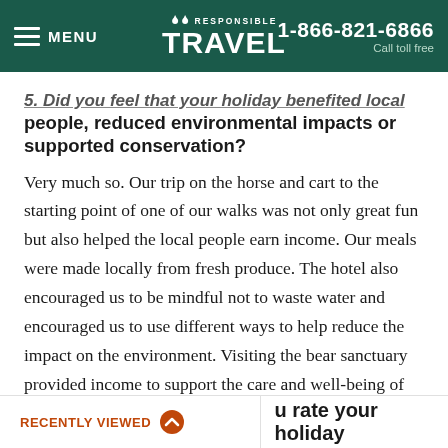MENU | RESPONSIBLE TRAVEL | 1-866-821-6866 Call toll free
5. Did you feel that your holiday benefited local people, reduced environmental impacts or supported conservation?
Very much so. Our trip on the horse and cart to the starting point of one of our walks was not only great fun but also helped the local people earn income. Our meals were made locally from fresh produce. The hotel also encouraged us to be mindful not to waste water and encouraged us to use different ways to help reduce the impact on the environment. Visiting the bear sanctuary provided income to support the care and well-being of the bears there, most of whom had been cruelly treated.
RECENTLY VIEWED | u rate your holiday